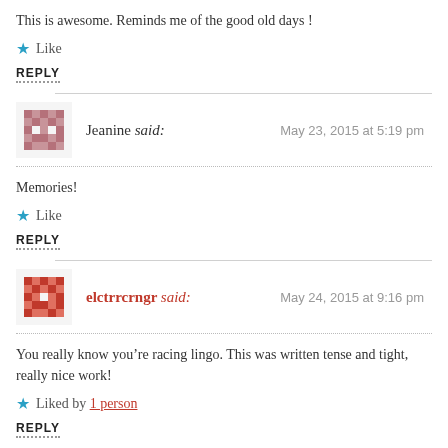This is awesome. Reminds me of the good old days !
Like
REPLY
Jeanine said: May 23, 2015 at 5:19 pm
Memories!
Like
REPLY
elctrrcrngr said: May 24, 2015 at 9:16 pm
You really know you’re racing lingo. This was written tense and tight, really nice work!
Liked by 1 person
REPLY